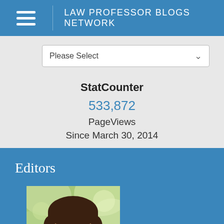LAW PROFESSOR BLOGS NETWORK
Please Select
StatCounter
533,872
PageViews
Since March 30, 2014
Editors
[Figure (photo): Headshot photo of a middle-aged man with dark hair, glasses, and a goatee, smiling, with blurred green outdoor background.]